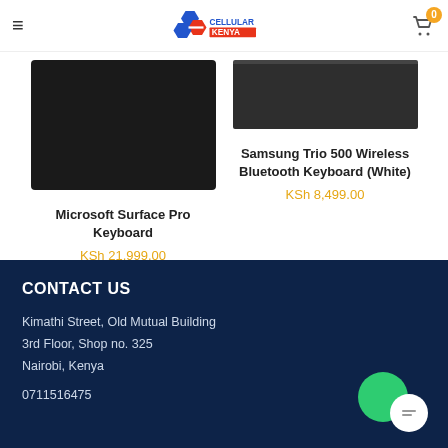Cellular Kenya - navigation header with logo and cart
[Figure (screenshot): Microsoft Surface Pro Keyboard product image - dark/black keyboard on white background]
Microsoft Surface Pro Keyboard
KSh 21,999.00
[Figure (screenshot): Samsung Trio 500 Wireless Bluetooth Keyboard (White) product image - thin dark keyboard]
Samsung Trio 500 Wireless Bluetooth Keyboard (White)
KSh 8,499.00
CONTACT US
Kimathi Street, Old Mutual Building
3rd Floor, Shop no. 325
Nairobi, Kenya
0711516475